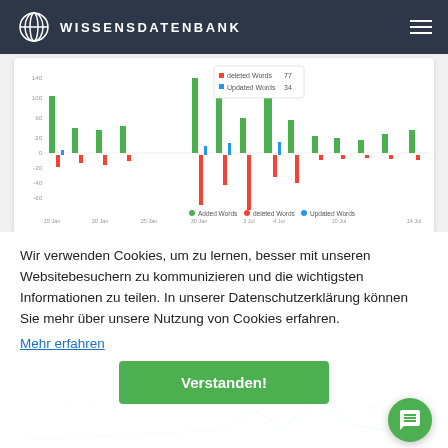WISSENSDATENBANK
[Figure (bar-chart): Bar chart showing Added Words (green), deleted Words (red), and Updated Words (blue) over time with a tooltip showing 'deleted Words 77' and 'Updated Words 34']
Wir verwenden Cookies, um zu lernen, besser mit unseren Websitebesuchern zu kommunizieren und die wichtigsten Informationen zu teilen. In unserer Datenschutzerklärung können Sie mehr über unsere Nutzung von Cookies erfahren.
Mehr erfahren
Verstanden!
[Figure (line-chart): Partially visible line chart at the bottom of the page showing word count statistics over last 30 days]